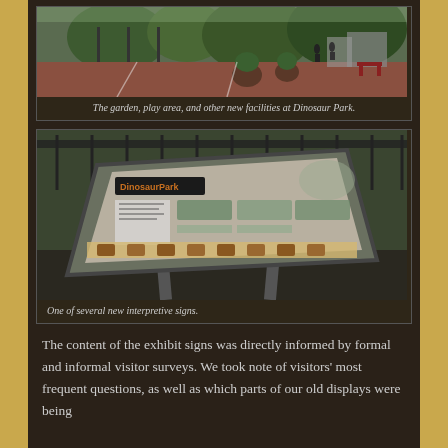[Figure (photo): Outdoor photo of garden, play area, and new facilities at Dinosaur Park with trees, red pavement, planters, and structures visible]
The garden, play area, and other new facilities at Dinosaur Park.
[Figure (photo): Photo of a Dinosaur Park interpretive sign board mounted on posts, showing informational panels about the park]
One of several new interpretive signs.
The content of the exhibit signs was directly informed by formal and informal visitor surveys. We took note of visitors' most frequent questions, as well as which parts of our old displays were being